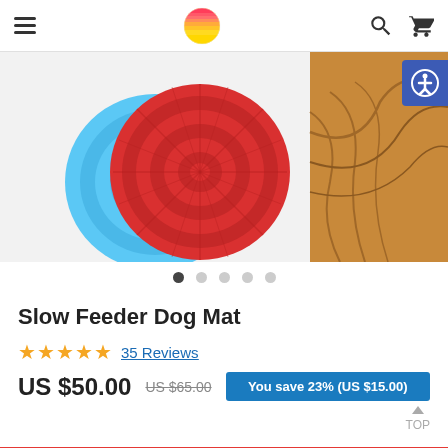Navigation header with hamburger menu, logo, search and cart icons
[Figure (photo): Product photo showing a red circular slow feeder dog mat overlapping a blue one, with a dog's paw visible on the right side, on a white background. A blue accessibility badge is in the top right corner.]
Slow Feeder Dog Mat
★★★★★ 35 Reviews
US $50.00  US $65.00  You save 23% (US $15.00)